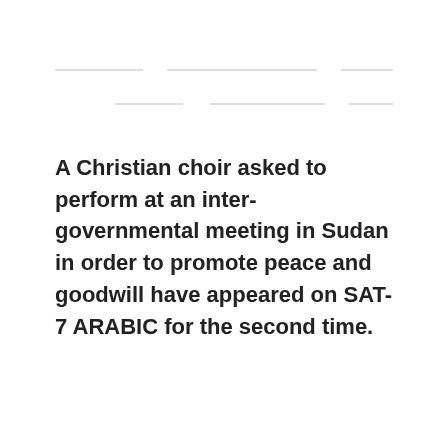[Figure (other): Decorative horizontal dashed lines arranged in two rows at the top of the page]
A Christian choir asked to perform at an inter-governmental meeting in Sudan in order to promote peace and goodwill have appeared on SAT-7 ARABIC for the second time.